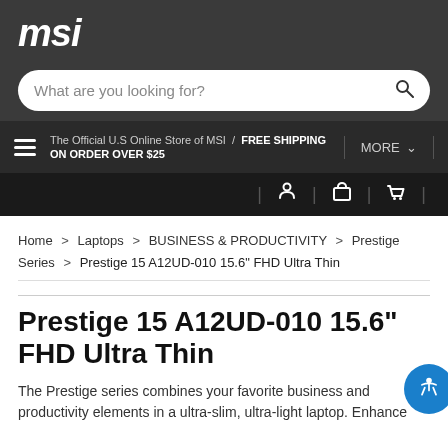[Figure (logo): MSI logo in italic bold white text on dark gray background]
[Figure (screenshot): Search bar with placeholder text 'What are you looking for?' and magnifying glass icon]
The Official U.S Online Store of MSI / FREE SHIPPING ON ORDER OVER $25
MORE ∨
Home > Laptops > BUSINESS & PRODUCTIVITY > Prestige Series > Prestige 15 A12UD-010 15.6" FHD Ultra Thin
Prestige 15 A12UD-010 15.6" FHD Ultra Thin
The Prestige series combines your favorite business and productivity elements in a ultra-slim, ultra-light laptop. Enhance